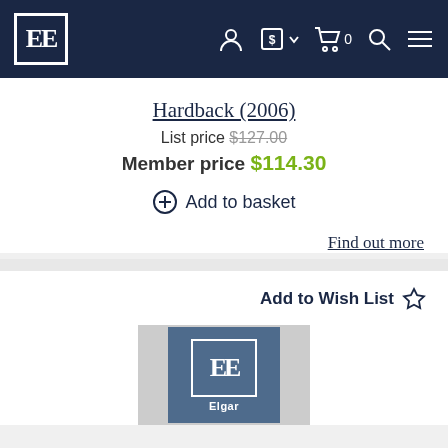EE [logo] navigation bar with account, currency ($), cart (0), search, and menu icons
Hardback (2006)
List price $127.00
Member price $114.30
Add to basket
Find out more
Add to Wish List
[Figure (logo): Edward Elgar Publishing logo — EE letters in a bordered box with 'Elgar' text below, on a steel-blue background, centred on a light grey book cover placeholder]